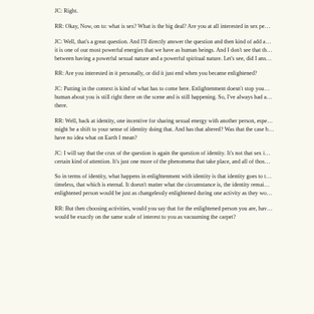JC: Right.
RR: Okay, Now, on to: what is sex? What is the big deal? Are you at all interested in sex pe…
JC: Well, that's a great question. And I'll directly answer the question and then kind of add a… it is one of our most powerful energies that we have as human beings. And I don't see that th… between having a powerful sexual nature and a powerful spiritual nature. Let's see, did I ans…
RR: Are you interested in it personally, or did it just end when you became enlightened?
JC: Putting in the context is kind of what has to come here. Enlightenment doesn't stop you… human about you is still right there on the scene and is still happening. So, I've always had a… there.
RR: Well, back at identity, one incentive for sharing sexual energy with another person, espe… might be a shift to your sense of identity doing that. And has that altered? Was that the case b… have no idea what on Earth I mean?
JC: I will say that the crux of the question is again the question of identity. It's not that sex i… certain kind of attention. It's just one more of the phenomena that take place, and all of thos…
So in terms of identity, what happens in enlightenment with identity is that identity goes to t… timeless, that which is eternal. It doesn't matter what the circumstance is, the identity remai… enlightened person would be just as changelessly enlightened during one activity as they wo…
RR: But then choosing activities, would you say that for the enlightened person you are, hav… would be exactly on the same scale of interest to you as vacuuming the carpet?